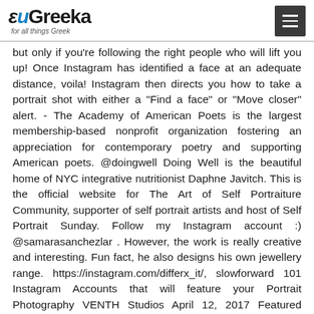euGreeka for all things Greek
but only if you're following the right people who will lift you up! Once Instagram has identified a face at an adequate distance, voila! Instagram then directs you how to take a portrait shot with either a "Find a face" or "Move closer" alert. - The Academy of American Poets is the largest membership-based nonprofit organization fostering an appreciation for contemporary poetry and supporting American poets. @doingwell Doing Well is the beautiful home of NYC integrative nutritionist Daphne Javitch. This is the official website for The Art of Self Portraiture Community, supporter of self portrait artists and host of Self Portrait Sunday. Follow my Instagram account :) @samarasanchezlar . However, the work is really creative and interesting. Fun fact, he also designs his own jewellery range. https://instagram.com/differx_it/, slowforward 101 Instagram Accounts that will feature your Portrait Photography VENTH Studios April 12, 2017 Featured Social 93225 views If you have stumbled across our list of 101 Feature Accounts for Portrait Photographers you probably